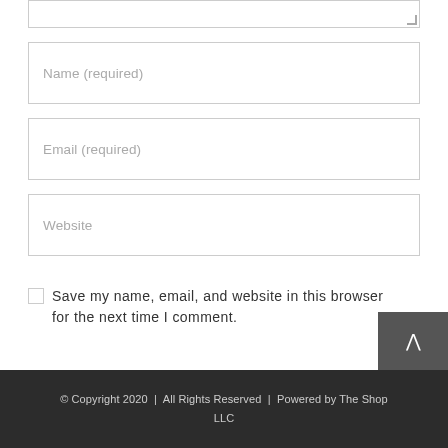[Figure (screenshot): Bottom portion of a web comment form showing a textarea stub at top, Name (required) input field, Email (required) input field, Website input field, a save-info checkbox with label, and a POST COMMENT button]
Name (required)
Email (required)
Website
Save my name, email, and website in this browser for the next time I comment.
POST COMMENT
© Copyright 2020  |  All Rights Reserved  |  Powered by The Shop LLC